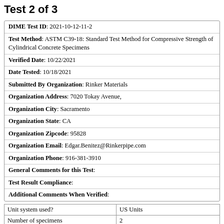Test 2 of 3
| DIME Test ID | 2021-10-12-11-2 |
| Test Method | ASTM C39-18: Standard Test Method for Compressive Strength of Cylindrical Concrete Specimens |
| Verified Date | 10/22/2021 |
| Date Tested | 10/18/2021 |
| Submitted By Organization | Rinker Materials |
| Organization Address | 7020 Tokay Avenue, |
| Organization City | Sacramento |
| Organization State | CA |
| Organization Zipcode | 95828 |
| Organization Email | Edgar.Benitez@Rinkerpipe.com |
| Organization Phone | 916-381-3910 |
| General Comments for this Test |  |
| Test Result Compliance |  |
| Additional Comments When Verified |  |
|  |  |
| --- | --- |
| Unit system used? | US Units |
| Number of specimens | 2 |
| Test performed | With no density determined |
| Average diameter of cylinder 1 | 4.00 in |